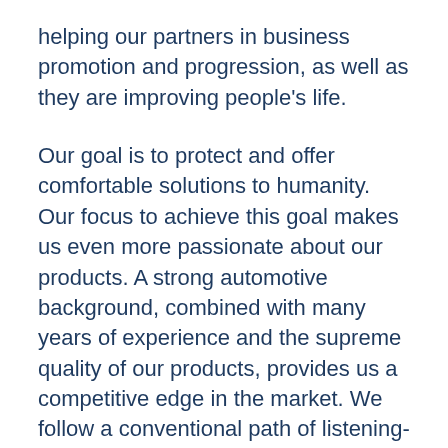helping our partners in business promotion and progression, as well as they are improving people's life.
Our goal is to protect and offer comfortable solutions to humanity. Our focus to achieve this goal makes us even more passionate about our products. A strong automotive background, combined with many years of experience and the supreme quality of our products, provides us a competitive edge in the market. We follow a conventional path of listening-understanding-solving-manufacturing-supplying. We provide personalized advice after listening to customers' requirements. Our professionals validate the whole process of development. The goal is to produce light weight and